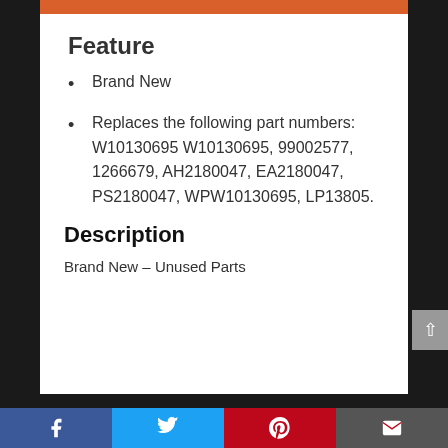Feature
Brand New
Replaces the following part numbers: W10130695 W10130695, 99002577, 1266679, AH2180047, EA2180047, PS2180047, WPW10130695, LP13805.
Description
Brand New – Unused Parts
Facebook | Twitter | Pinterest | Email